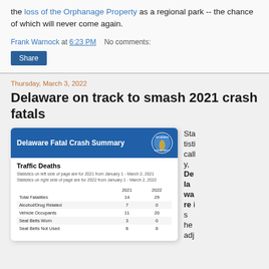the loss of the Orphanage Property as a regional park -- the chance of which will never come again.
Frank Warnock at 6:23 PM   No comments:
Share
Thursday, March 3, 2022
Delaware on track to smash 2021 crash fatals
[Figure (screenshot): Delaware Fatal Crash Summary document showing Traffic Deaths table with 2021 and 2022 data including Total Fatalities, Alcohol/Drug Related, Vehicle Occupants, Seat Belts Worn, Seat Belts Not Used]
Statistically, Delaware is heading adj...